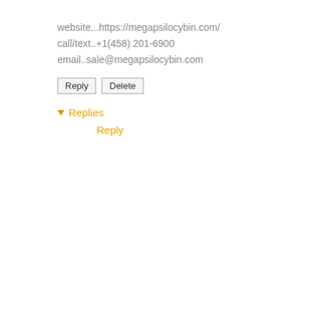website...https://megapsilocybin.com/
call/text..+1(458) 201-6900
email..sale@megapsilocybin.com
Reply
Delete
▾ Replies
Reply